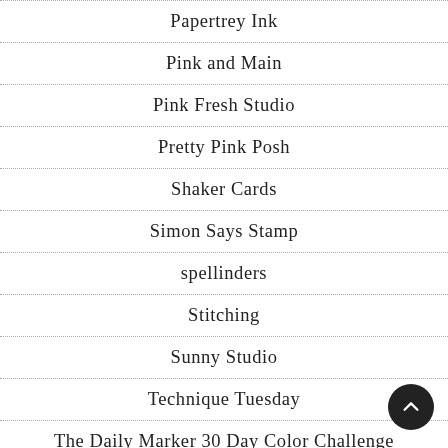Papertrey Ink
Pink and Main
Pink Fresh Studio
Pretty Pink Posh
Shaker Cards
Simon Says Stamp
spellinders
Stitching
Sunny Studio
Technique Tuesday
The Daily Marker 30 Day Color Challenge
The Ink Blot Shop
Thermoweb
Thinking Of You
Tutorials
U...